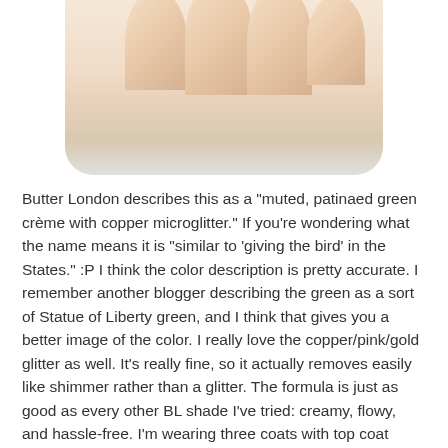[Figure (photo): Close-up photo of four fingers with nails painted a muted green with copper microglitter nail polish, shown against a light gray/white rounded rectangle background.]
Butter London describes this as a "muted, patinaed green crème with copper microglitter."  If you're wondering what the name means it is "similar to 'giving the bird' in the States." :P  I think the color description is pretty accurate.  I remember another blogger describing the green as a sort of Statue of Liberty green, and I think that gives you a better image of the color.  I really love the copper/pink/gold glitter as well.  It's really fine, so it actually removes easily like shimmer rather than a glitter.  The formula is just as good as every other BL shade I've tried: creamy, flowy, and hassle-free.  I'm wearing three coats with top coat here.
Mine was purchased at Nordstrom for $14 and I believe it is a Nordstrom exclusive shade.  However, it's being sold on ButterLondon.com for $15, so it may have joined the permanent line.  BL seems to have also hiked up their prices